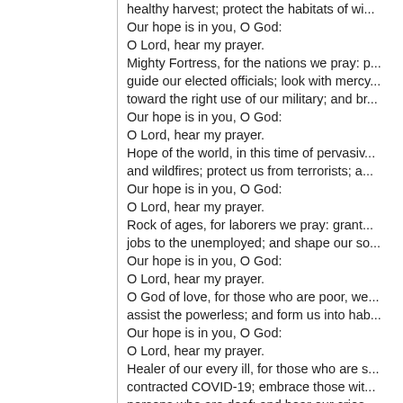healthy harvest; protect the habitats of wi...
Our hope is in you, O God:
O Lord, hear my prayer.
Mighty Fortress, for the nations we pray: p...
guide our elected officials; look with mercy...
toward the right use of our military; and br...
Our hope is in you, O God:
O Lord, hear my prayer.
Hope of the world, in this time of pervasiv...
and wildfires; protect us from terrorists; a...
Our hope is in you, O God:
O Lord, hear my prayer.
Rock of ages, for laborers we pray: grant...
jobs to the unemployed; and shape our so...
Our hope is in you, O God:
O Lord, hear my prayer.
O God of love, for those who are poor, we...
assist the powerless; and form us into hab...
Our hope is in you, O God:
O Lord, hear my prayer.
Healer of our every ill, for those who are s...
contracted COVID-19; embrace those wit...
persons who are deaf; and hear our cries...
Our hope is in you, O God:
O Lord, hear my prayer.
Mothering God, for ourselves we pray: tak...
Our hope is in you, O God:
O Lord, hear my prayer.
Eternal Father, strong to save, for the gra...
you. For life at the end of time in your pre...
Our hope is in you, O God: